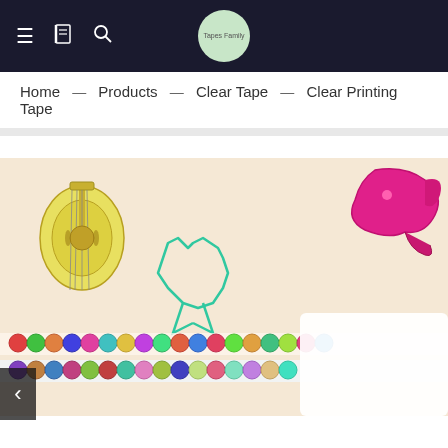Navigation bar with menu, bookmark, and search icons; Tapes Family logo
Home — Products — Clear Tape — Clear Printing Tape
[Figure (photo): Product photo showing decorative clear printing tape with colorful illustrations including a guitar sticker, pink bird/leaf sticker, teal animal outline sticker, and two rolls of printed tape with colorful circular patterns. A customer service representative with headset appears in the bottom right with 'Support ONLINE' text.]